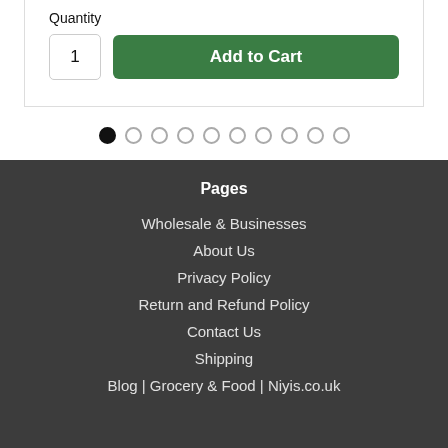Quantity
1
Add to Cart
[Figure (other): Pagination dots row with 10 dots, first one filled/active (black), rest outlined (grey)]
Pages
Wholesale & Businesses
About Us
Privacy Policy
Return and Refund Policy
Contact Us
Shipping
Blog | Grocery & Food | Niyis.co.uk